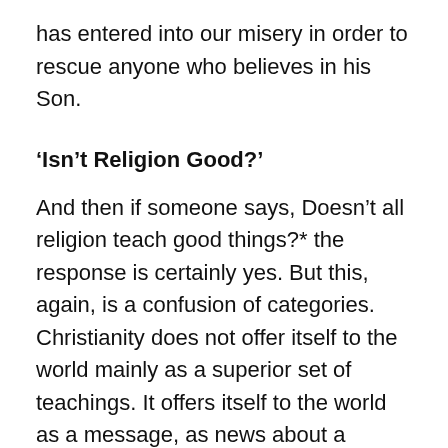has entered into our misery in order to rescue anyone who believes in his Son.
‘Isn’t Religion Good?’
And then if someone says, Doesn’t all religion teach good things?* the response is certainly yes. But this, again, is a confusion of categories. Christianity does not offer itself to the world mainly as a superior set of teachings. It offers itself to the world as a message, as news about a redemption and a resurrection and an eternal life in history through the death and resurrection of the Son of God.
We don’t need to get bogged down in arguing